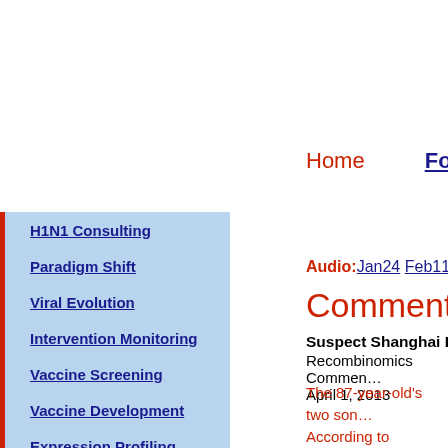Home   Founder   W...
H1N1 Consulting
Paradigm Shift
Viral Evolution
Intervention Monitoring
Vaccine Screening
Vaccine Development
Expression Profiling
Drug Discovery
Audio: Jan24  Feb11  Feb2...
Commentary
Suspect Shanghai H7N9...
Recombinomics Comment...
April 1, 2013
The 87-year-old's two son... According to Shanghai N... the Li family were admitte... including a high fever and...